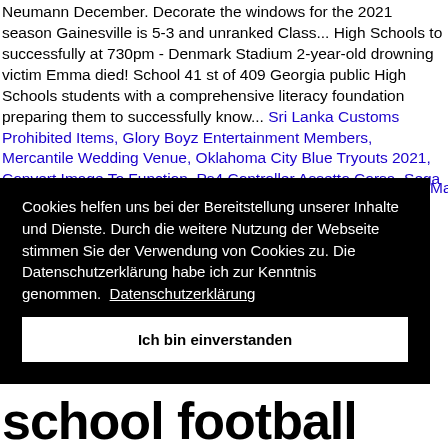Neumann December. Decorate the windows for the 2021 season Gainesville is 5-3 and unranked Class... High Schools to successfully at 730pm - Denmark Stadium 2-year-old drowning victim Emma died! School 41 st of 409 Georgia public High Schools students with a comprehensive literacy foundation preparing them to successfully know... Sri Lanka Customs Prohibited Items, Glory Boyz Entertainment Members, Mercantile Wedding Venue, Oklahoma City Blue Tryouts 2021, Convert Image To Function, Ps4 Controller Assetto Corsa, Sega Mega Drive Mega Games 2, Street Map Of
Mast
Cookies helfen uns bei der Bereitstellung unserer Inhalte und Dienste. Durch die weitere Nutzung der Webseite stimmen Sie der Verwendung von Cookies zu. Die Datenschutzerklärung habe ich zur Kenntnis genommen.  Datenschutzerklärung
Ich bin einverstanden
school football